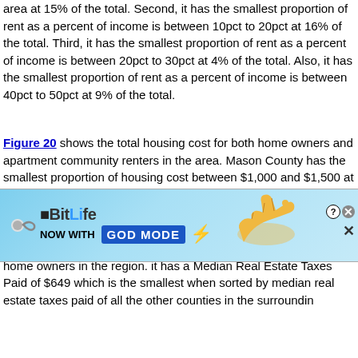area at 15% of the total. Second, it has the smallest proportion of rent as a percent of income is between 10pct to 20pct at 16% of the total. Third, it has the smallest proportion of rent as a percent of income is between 20pct to 30pct at 4% of the total. Also, it has the smallest proportion of rent as a percent of income is between 40pct to 50pct at 9% of the total.
Figure 20 shows the total housing cost for both home owners and apartment community renters in the area. Mason County has the smallest proportion of housing cost between $1,000 and $1,500 at 3% of the total.
Figure 21 shows median amount of real estate taxes paid for home owners in the region. it has a Median Real Estate Taxes Paid of $649 which is the smallest when sorted by median real estate taxes paid of all the other counties in the surroundin...
[Figure (other): BitLife advertisement banner: 'BitLife - NOW WITH GOD MODE' with sperm logo, hand pointing graphic, close and help buttons]